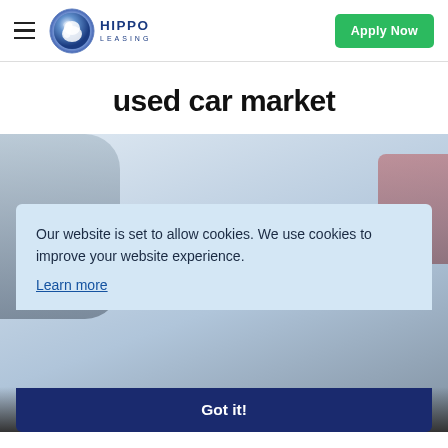HIPPO LEASING — Apply Now
used car market
[Figure (photo): Blurred background photo of a person near cars, with a cookie consent overlay. The overlay reads: 'Our website is set to allow cookies. We use cookies to improve your website experience. Learn more' with a 'Got it!' button bar.]
Our website is set to allow cookies. We use cookies to improve your website experience.
Learn more
Got it!